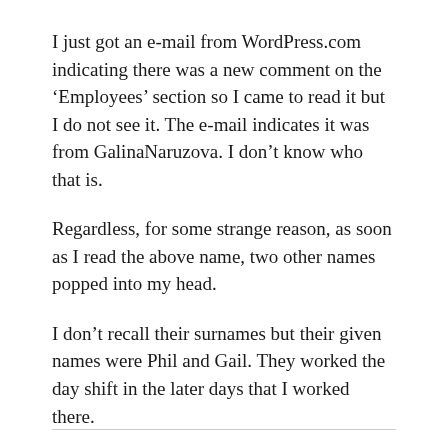I just got an e-mail from WordPress.com indicating there was a new comment on the ‘Employees’ section so I came to read it but I do not see it. The e-mail indicates it was from GalinaNaruzova. I don’t know who that is.
Regardless, for some strange reason, as soon as I read the above name, two other names popped into my head.
I don’t recall their surnames but their given names were Phil and Gail. They worked the day shift in the later days that I worked there.